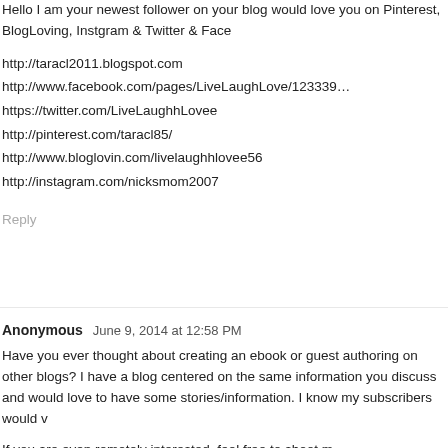Hello I am your newest follower on your blog would love you on Pinterest, BlogLoving, Instgram & Twitter & Face...
http://taracl2011.blogspot.com
http://www.facebook.com/pages/LiveLaughLove/123392...
https://twitter.com/LiveLaughhLovee
http://pinterest.com/taracl85/
http://www.bloglovin.com/livelaughhlovee56
http://instagram.com/nicksmom2007
Reply
Anonymous June 9, 2014 at 12:58 PM
Have you ever thought about creating an ebook or guest authoring on other blogs? I have a blog centered on the same information you discuss and would love to have some stories/information. I know my subscribers would v...
If you are even remotely interested, feel free to shoot m...